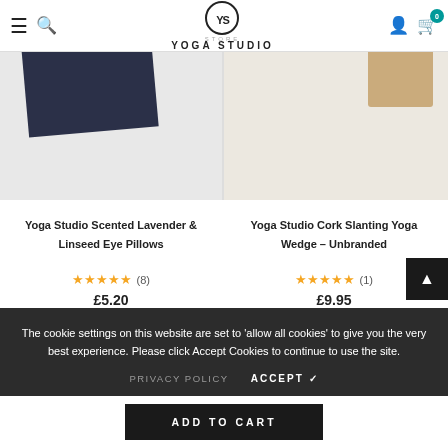Yoga Studio Store
[Figure (photo): Yoga Studio Scented Lavender & Linseed Eye Pillows product image — navy blue fabric on grey background]
Yoga Studio Scented Lavender & Linseed Eye Pillows
★★★★★ (8)
£5.20
[Figure (photo): Yoga Studio Cork Slanting Yoga Wedge - Unbranded product image — cork wedge on light background]
Yoga Studio Cork Slanting Yoga Wedge - Unbranded
★★★★★ (1)
£9.95
The cookie settings on this website are set to 'allow all cookies' to give you the very best experience. Please click Accept Cookies to continue to use the site.
PRIVACY POLICY   ACCEPT ✓
ADD TO CART